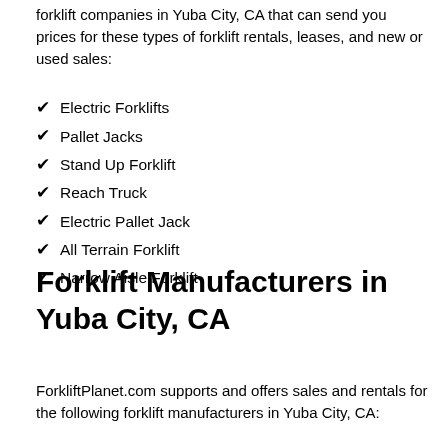forklift companies in Yuba City, CA that can send you prices for these types of forklift rentals, leases, and new or used sales:
Electric Forklifts
Pallet Jacks
Stand Up Forklift
Reach Truck
Electric Pallet Jack
All Terrain Forklift
Narrow Aisle Forklift
Forklift Manufacturers in Yuba City, CA
ForkliftPlanet.com supports and offers sales and rentals for the following forklift manufacturers in Yuba City, CA: